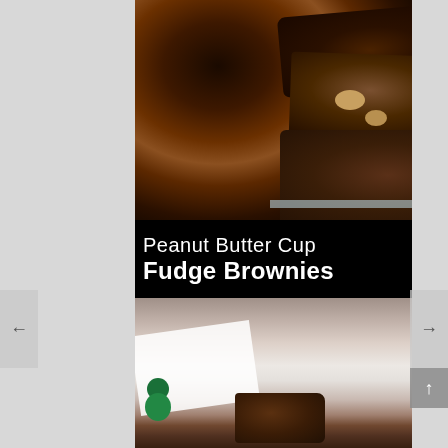[Figure (photo): Close-up photograph of stacked chocolate fudge brownies with peanut butter cup chunks visible. Rich dark chocolate brownies with golden peanut butter pieces and a red candy wrapper visible on the right side.]
Peanut Butter Cup Fudge Brownies
[Figure (photo): Bottom photograph showing a brownie piece on white parchment paper with green Reese's peanut butter cup candy wrappers in the foreground, on a wooden surface.]